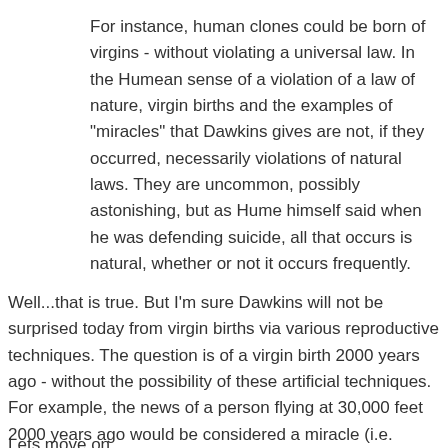For instance, human clones could be born of virgins - without violating a universal law. In the Humean sense of a violation of a law of nature, virgin births and the examples of "miracles" that Dawkins gives are not, if they occurred, necessarily violations of natural laws. They are uncommon, possibly astonishing, but as Hume himself said when he was defending suicide, all that occurs is natural, whether or not it occurs frequently.
Well...that is true. But I'm sure Dawkins will not be surprised today from virgin births via various reproductive techniques. The question is of a virgin birth 2000 years ago - without the possibility of these artificial techniques. For example, the news of a person flying at 30,000 feet 2000 years ago would be considered a miracle (i.e. violation of a laws of nature). Just because we have airplanes today that fly routinely at 30,000 feet - without violating any natural laws - doesn't make the ancient claim any more believable (or possible).
Lets move on...